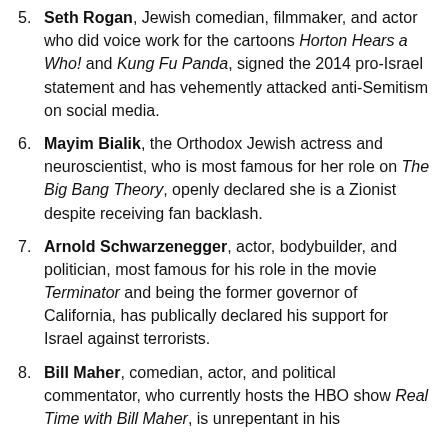5. Seth Rogan, Jewish comedian, filmmaker, and actor who did voice work for the cartoons Horton Hears a Who! and Kung Fu Panda, signed the 2014 pro-Israel statement and has vehemently attacked anti-Semitism on social media.
6. Mayim Bialik, the Orthodox Jewish actress and neuroscientist, who is most famous for her role on The Big Bang Theory, openly declared she is a Zionist despite receiving fan backlash.
7. Arnold Schwarzenegger, actor, bodybuilder, and politician, most famous for his role in the movie Terminator and being the former governor of California, has publically declared his support for Israel against terrorists.
8. Bill Maher, comedian, actor, and political commentator, who currently hosts the HBO show Real Time with Bill Maher, is unrepentant in his defense of Israel against terrorists.